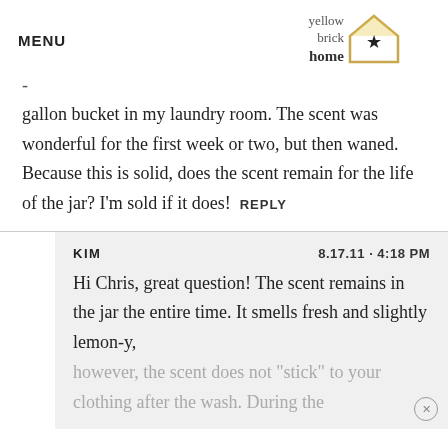MENU | yellow brick home [logo]
gallon bucket in my laundry room. The scent was wonderful for the first week or two, but then waned. Because this is solid, does the scent remain for the life of the jar? I'm sold if it does!  REPLY
KIM   8.17.11 · 4:18 PM
Hi Chris, great question! The scent remains in the jar the entire time. It smells fresh and slightly lemon-y, however, the scent does not "stick" to your clothing after the wash. During the